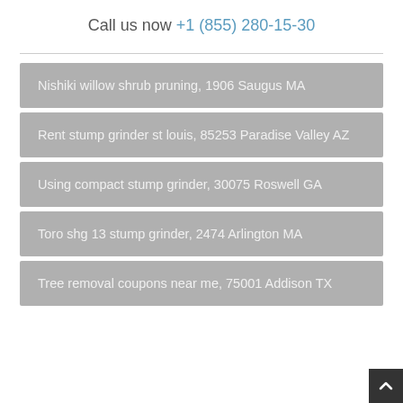Call us now +1 (855) 280-15-30
Nishiki willow shrub pruning, 1906 Saugus MA
Rent stump grinder st louis, 85253 Paradise Valley AZ
Using compact stump grinder, 30075 Roswell GA
Toro shg 13 stump grinder, 2474 Arlington MA
Tree removal coupons near me, 75001 Addison TX